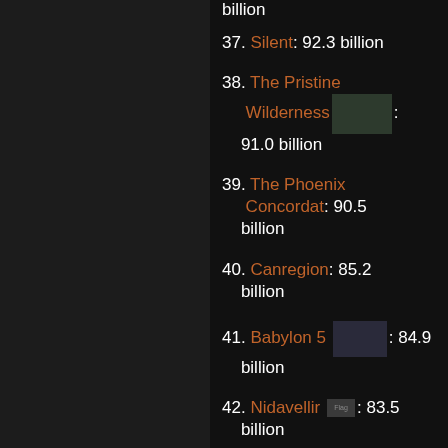billion
37. Silent: 92.3 billion
38. The Pristine Wilderness [image]: 91.0 billion
39. The Phoenix Concordat: 90.5 billion
40. Canregion: 85.2 billion
41. Babylon 5 [image]: 84.9 billion
42. Nidavellir [Flag image]: 83.5 billion